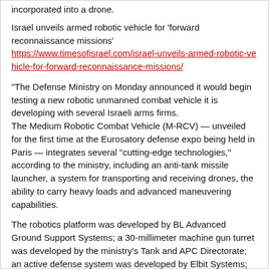incorporated into a drone.
Israel unveils armed robotic vehicle for 'forward reconnaissance missions'
https://www.timesofisrael.com/israel-unveils-armed-robotic-vehicle-for-forward-reconnaissance-missions/
“The Defense Ministry on Monday announced it would begin testing a new robotic unmanned combat vehicle it is developing with several Israeli arms firms. The Medium Robotic Combat Vehicle (M-RCV) — unveiled for the first time at the Eurosatory defense expo being held in Paris — integrates several “cutting-edge technologies,” according to the ministry, including an anti-tank missile launcher, a system for transporting and receiving drones, the ability to carry heavy loads and advanced maneuvering capabilities.
The robotics platform was developed by BL Advanced Ground Support Systems; a 30-millimeter machine gun turret was developed by the ministry’s Tank and APC Directorate; an active defense system was developed by Elbit Systems; and the missile launcher was developed by the Israel Aerospace Industries, capable of